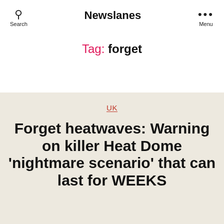Newslanes
Tag: forget
UK
Forget heatwaves: Warning on killer Heat Dome ‘nightmare scenario’ that can last for WEEKS